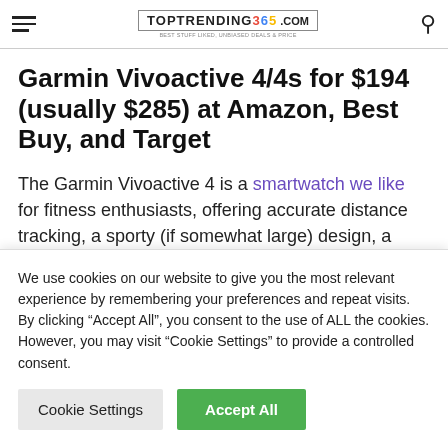TOPTRENDING 365 .COM
Garmin Vivoactive 4/4s for $194 (usually $285) at Amazon, Best Buy, and Target
The Garmin Vivoactive 4 is a smartwatch we like for fitness enthusiasts, offering accurate distance tracking, a sporty (if somewhat large) design, a wide
We use cookies on our website to give you the most relevant experience by remembering your preferences and repeat visits. By clicking "Accept All", you consent to the use of ALL the cookies. However, you may visit "Cookie Settings" to provide a controlled consent.